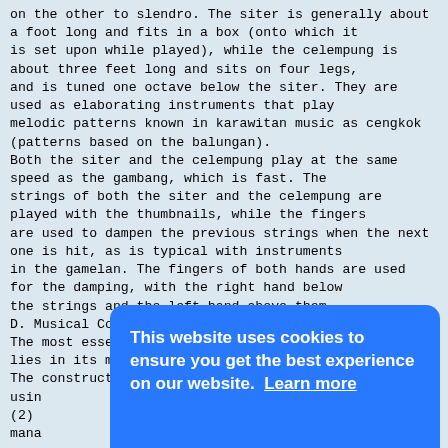on the other to slendro. The siter is generally about
a foot long and fits in a box (onto which it
is set upon while played), while the celempung is
about three feet long and sits on four legs,
and is tuned one octave below the siter. They are
used as elaborating instruments that play
melodic patterns known in karawitan music as cengkok
(patterns based on the balungan).
Both the siter and the celempung play at the same
speed as the gambang, which is fast. The
strings of both the siter and the celempung are
played with the thumbnails, while the fingers
are used to dampen the previous strings when the next
one is hit, as is typical with instruments
in the gamelan. The fingers of both hands are used
for the damping, with the right hand below
the strings and the left hand above them.
D. Musical Construction
The most essential specification of karawitan music
lies in its musical construction.
The construction of karawitan music is determined by
usin
(2)
mana
voca
mana
mana
The
that
vibr
posi
range of sound. Sounds are higher or lower in pitch
according to the frequency of vibration of
[Figure (other): Cookie consent overlay with blue background. Text: 'This website uses cookies to ensure you get the best experience on our website. Learn more'. Buttons: 'Decline' (white text, no background) and 'Allow cookies' (blue text, white background).]